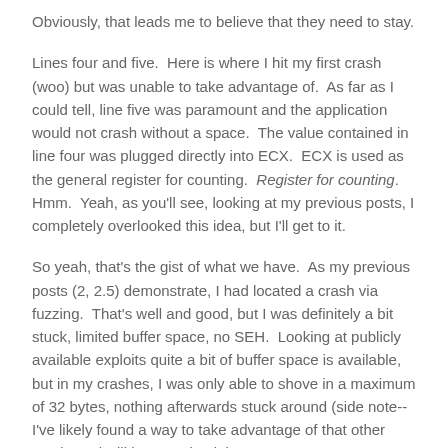Obviously, that leads me to believe that they need to stay.
Lines four and five.  Here is where I hit my first crash (woo) but was unable to take advantage of.  As far as I could tell, line five was paramount and the application would not crash without a space.  The value contained in line four was plugged directly into ECX.  ECX is used as the general register for counting.  Register for counting.  Hmm.  Yeah, as you'll see, looking at my previous posts, I completely overlooked this idea, but I'll get to it.
So yeah, that's the gist of what we have.  As my previous posts (2, 2.5) demonstrate, I had located a crash via fuzzing.  That's well and good, but I was definitely a bit stuck, limited buffer space, no SEH.  Looking at publicly available exploits quite a bit of buffer space is available, but in my crashes, I was only able to shove in a maximum of 32 bytes, nothing afterwards stuck around (side note-- I've likely found a way to take advantage of that other crash, and will be pursuing it in a